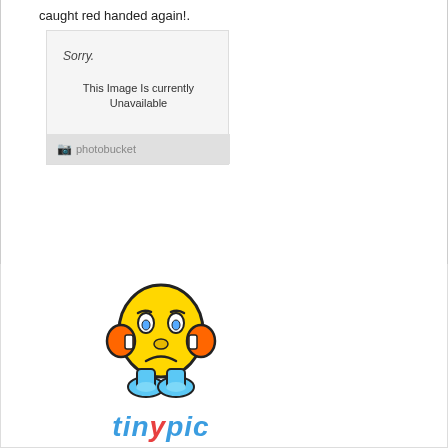caught red handed again!.
[Figure (screenshot): Photobucket image unavailable placeholder showing 'Sorry. This Image Is Currently Unavailable' with photobucket logo]
[Figure (illustration): Tinypic sad emoji character with worried face, hands on cheeks, sitting with blue shoes, above tinypic logo text]